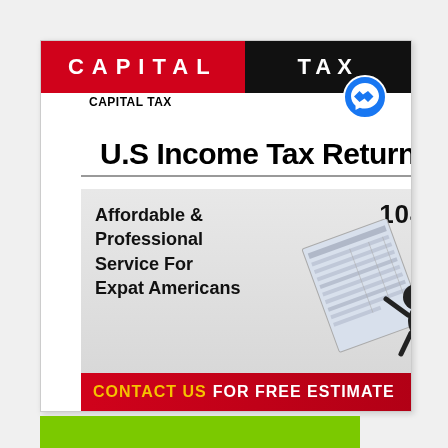[Figure (logo): Capital Tax logo: red rectangle with CAPITAL in white bold letters, black rectangle with TAX in white bold letters]
CAPITAL TAX
U.S Income Tax Returns
[Figure (illustration): 3D black stick figure holding a large 1040 tax form, with text 'Affordable & Professional Service For Expat Americans' and '1040' label]
Affordable & Professional Service For Expat Americans
1040
CONTACT US FOR FREE ESTIMATE
QUICK